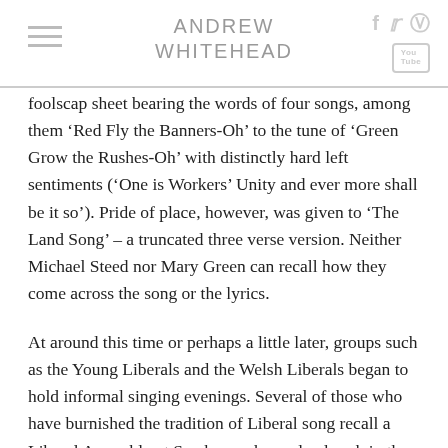ANDREW WHITEHEAD
foolscap sheet bearing the words of four songs, among them 'Red Fly the Banners-Oh' to the tune of 'Green Grow the Rushes-Oh' with distinctly hard left sentiments ('One is Workers' Unity and ever more shall be it so'). Pride of place, however, was given to 'The Land Song' – a truncated three verse version. Neither Michael Steed nor Mary Green can recall how they come across the song or the lyrics.
At around this time or perhaps a little later, groups such as the Young Liberals and the Welsh Liberals began to hold informal singing evenings. Several of those who have burnished the tradition of Liberal song recall a Liberal Assembly at Scarborough as a landmark in the restoration of 'The Land Song' as the pre-eminent Liberal radical song. Viv Bingham, a one-time president of the Liberal party, recalled that he first attended the